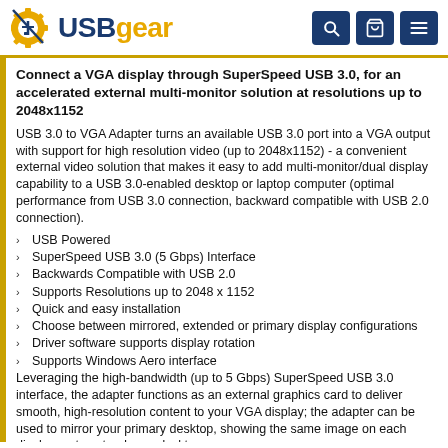USBgear
Connect a VGA display through SuperSpeed USB 3.0, for an accelerated external multi-monitor solution at resolutions up to 2048x1152
USB 3.0 to VGA Adapter turns an available USB 3.0 port into a VGA output with support for high resolution video (up to 2048x1152) - a convenient external video solution that makes it easy to add multi-monitor/dual display capability to a USB 3.0-enabled desktop or laptop computer (optimal performance from USB 3.0 connection, backward compatible with USB 2.0 connection).
USB Powered
SuperSpeed USB 3.0 (5 Gbps) Interface
Backwards Compatible with USB 2.0
Supports Resolutions up to 2048 x 1152
Quick and easy installation
Choose between mirrored, extended or primary display configurations
Driver software supports display rotation
Supports Windows Aero interface
Leveraging the high-bandwidth (up to 5 Gbps) SuperSpeed USB 3.0 interface, the adapter functions as an external graphics card to deliver smooth, high-resolution content to your VGA display; the adapter can be used to mirror your primary desktop, showing the same image on each display, or to extend your desktop